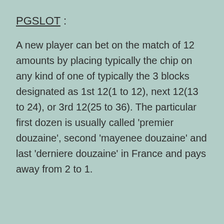PGSLOT :
A new player can bet on the match of 12 amounts by placing typically the chip on any kind of one of typically the 3 blocks designated as 1st 12(1 to 12), next 12(13 to 24), or 3rd 12(25 to 36). The particular first dozen is usually called ‘premier douzaine’, second ‘mayenee douzaine’ and last ‘derniere douzaine’ in France and pays away from 2 to 1.